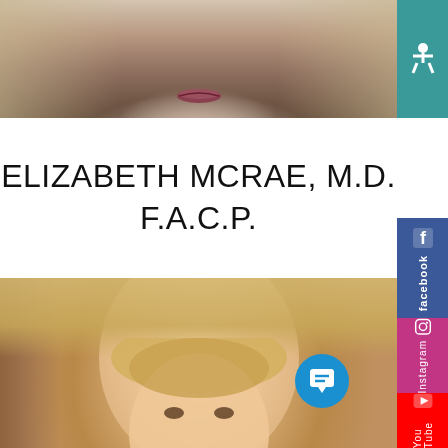[Figure (photo): Top portion of a woman with blonde hair, dark background, close-up shot showing lower face area with lips]
ELIZABETH MCRAE, M.D. F.A.C.P.
[Figure (photo): Professional headshot photo of Elizabeth McRae, M.D., a woman with blonde curly hair, smiling, wearing makeup, against a warm beige/tan background with decorative elements]
[Figure (other): Right sidebar with social media icons: accessibility icon (teal), Facebook (blue), Instagram (pink/purple), Twitter (light blue), YouTube (red)]